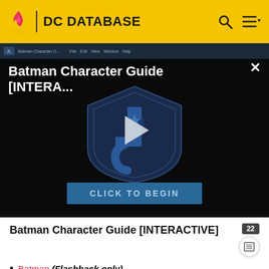DC DATABASE
[Figure (screenshot): Batman Character Guide [INTERA...] video player screenshot with Justice League shield logo, play button, and 'CLICK TO BEGIN' button on dark background]
Batman Character Guide [INTERACTIVE]
Batman (Flashback only)
Prince Mardo (Flashback only)
Locations